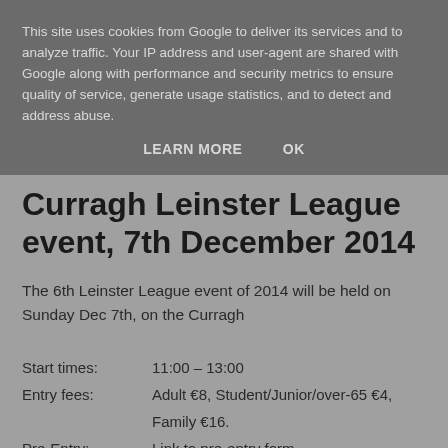This site uses cookies from Google to deliver its services and to analyze traffic. Your IP address and user-agent are shared with Google along with performance and security metrics to ensure quality of service, generate usage statistics, and to detect and address abuse.
LEARN MORE    OK
Curragh Leinster League event, 7th December 2014
The 6th Leinster League event of 2014 will be held on Sunday Dec 7th, on the Curragh
Start times:	11:00 – 13:00
Entry fees:	Adult €8, Student/Junior/over-65 €4, Family €16.
Pre-Entry:	Link to pre-entry form